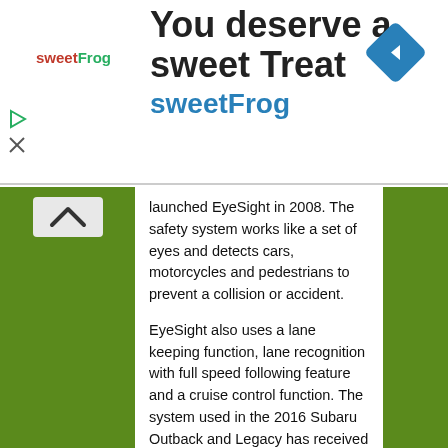[Figure (advertisement): sweetFrog advertisement banner with logo, headline 'You deserve a sweet Treat sweetFrog', and a blue diamond navigation icon]
launched EyeSight in 2008. The safety system works like a set of eyes and detects cars, motorcycles and pedestrians to prevent a collision or accident.
EyeSight also uses a lane keeping function, lane recognition with full speed following feature and a cruise control function. The system used in the 2016 Subaru Outback and Legacy has received high praise from IIHS and achieved the highest safety score possible. Subaru has stated they want to be the overall safety leader in the world and is continuing to upgrade the technology in their all-wheel-drive vehicles.
The 2016 Subaru Outback wagon and Legacy sedan with EyeSight will be on display at the Good Design Exhibition to be held from October